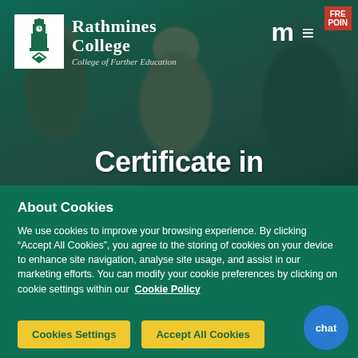[Figure (screenshot): Rathmines College website header with photo of students in background, teal overlay, college logo, navigation icons, and 'Certificate in' hero text]
About Cookies
We use cookies to improve your browsing experience. By clicking “Accept All Cookies”, you agree to the storing of cookies on your device to enhance site navigation, analyse site usage, and assist in our marketing efforts. You can modify your cookie preferences by clicking on cookie settings within our Cookie Policy